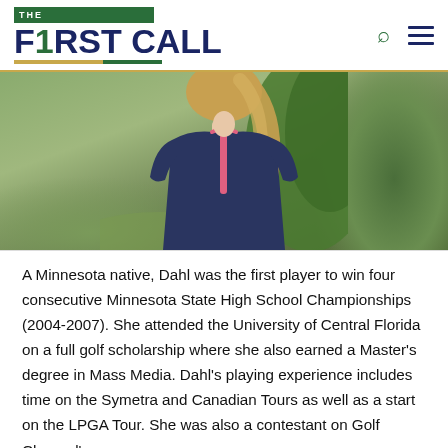THE F1RST CALL
[Figure (photo): A woman with long blonde hair wearing a navy blue and pink zip-up golf polo shirt, standing outdoors with green bushes in the background.]
A Minnesota native, Dahl was the first player to win four consecutive Minnesota State High School Championships (2004-2007). She attended the University of Central Florida on a full golf scholarship where she also earned a Master's degree in Mass Media. Dahl's playing experience includes time on the Symetra and Canadian Tours as well as a start on the LPGA Tour. She was also a contestant on Golf Channel's